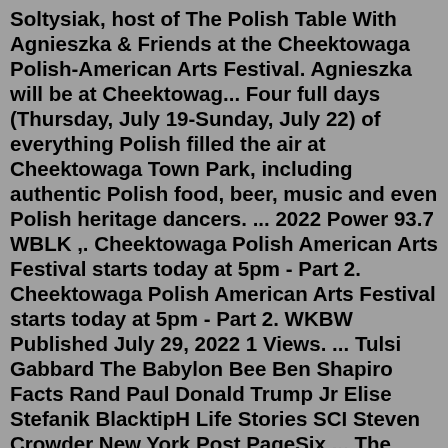Soltysiak, host of The Polish Table With Agnieszka & Friends at the Cheektowaga Polish-American Arts Festival. Agnieszka will be at Cheektowag... Four full days (Thursday, July 19-Sunday, July 22) of everything Polish filled the air at Cheektowaga Town Park, including authentic Polish food, beer, music and even Polish heritage dancers. ... 2022 Power 93.7 WBLK ,. Cheektowaga Polish American Arts Festival starts today at 5pm - Part 2. Cheektowaga Polish American Arts Festival starts today at 5pm - Part 2. WKBW Published July 29, 2022 1 Views. ... Tulsi Gabbard The Babylon Bee Ben Shapiro Facts Rand Paul Donald Trump Jr Elise Stefanik BlacktipH Life Stories SCI Steven Crowder New York Post PageSix ... The Polish American Arts Festival is a weekend of celebrating the rich Polish heritage in Western New York. It is taking place at the Cheektowaga Town Park. The festival starts today at 5pm. CHEEKTOWAGA, N.Y. — The Polish American Arts Festival is returning to Cheektowaga this weekend after a two-year hiatus. According to event organizes